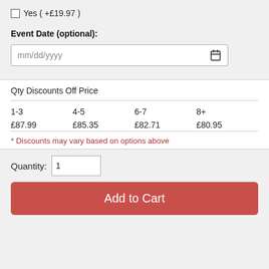Yes ( +£19.97 )
Event Date (optional):
mm/dd/yyyy
| 1-3 | 4-5 | 6-7 | 8+ |
| --- | --- | --- | --- |
| £87.99 | £85.35 | £82.71 | £80.95 |
Qty Discounts Off Price
* Discounts may vary based on options above
Quantity: 1
Add to Cart